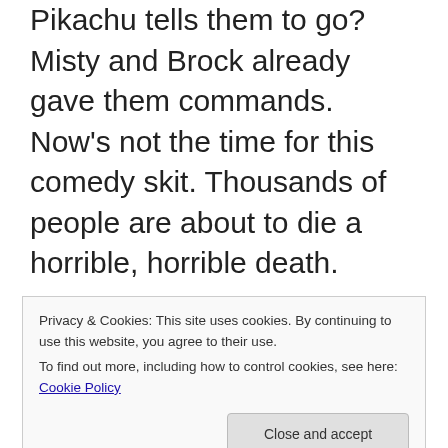Pikachu tells them to go? Misty and Brock already gave them commands. Now's not the time for this comedy skit. Thousands of people are about to die a horrible, horrible death.
– Togepi is super cute trying to help the others make a barrier.
– I want everyone to think about the previous note and consider why this is
Privacy & Cookies: This site uses cookies. By continuing to use this website, you agree to their use.
To find out more, including how to control cookies, see here: Cookie Policy
thought now was a good time to put down